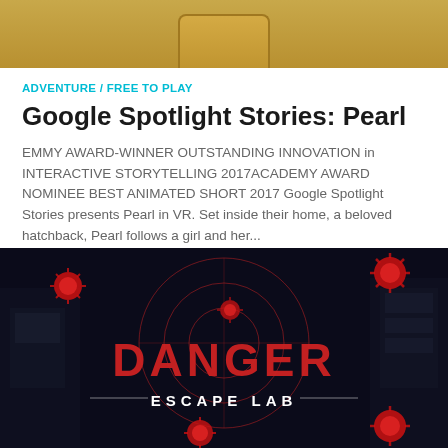[Figure (screenshot): Top portion of a game/app card showing a golden/brown background with a rounded rectangular shape at the top center]
ADVENTURE / FREE TO PLAY
Google Spotlight Stories: Pearl
EMMY AWARD-WINNER OUTSTANDING INNOVATION in INTERACTIVE STORYTELLING 2017ACADEMY AWARD NOMINEE BEST ANIMATED SHORT 2017 Google Spotlight Stories presents Pearl in VR. Set inside their home, a beloved hatchback, Pearl follows a girl and her...
[Figure (screenshot): Dark-themed game banner for 'DANGER ESCAPE LAB' showing a dark sci-fi room with red glowing virus/spike ball shapes floating around, a radar circle target design in the center, and the text DANGER in large red letters with ESCAPE LAB below in white]